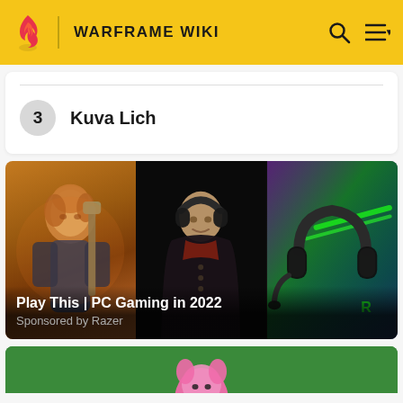WARFRAME WIKI
3  Kuva Lich
[Figure (photo): Promotional banner for 'Play This | PC Gaming in 2022', sponsored by Razer. Three panels: a fantasy game character (female with armor), a person in wizard/hogwarts robes with headphones, and a Razer gaming headset on dark teal background with green RGB lighting.]
Play This | PC Gaming in 2022
Sponsored by Razer
[Figure (photo): Bottom strip showing top of a pink cartoon character on a green background, partially visible.]